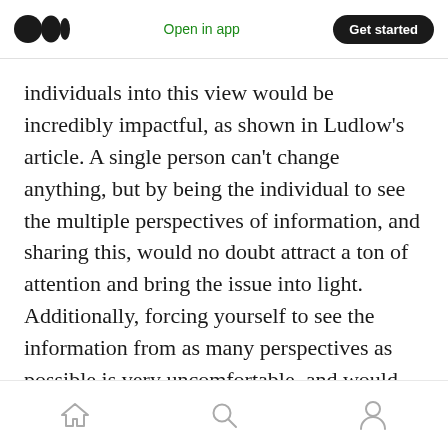Medium logo | Open in app | Get started
individuals into this view would be incredibly impactful, as shown in Ludlow's article. A single person can't change anything, but by being the individual to see the multiple perspectives of information, and sharing this, would no doubt attract a ton of attention and bring the issue into light. Additionally, forcing yourself to see the information from as many perspectives as possible is very uncomfortable, and would keep yourself questioning the information itself, which gives birth to research.
Home | Search | Profile